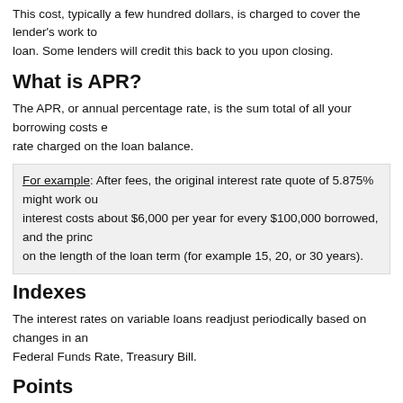This cost, typically a few hundred dollars, is charged to cover the lender's work to loan. Some lenders will credit this back to you upon closing.
What is APR?
The APR, or annual percentage rate, is the sum total of all your borrowing costs e rate charged on the loan balance.
For example: After fees, the original interest rate quote of 5.875% might work ou interest costs about $6,000 per year for every $100,000 borrowed, and the princ on the length of the loan term (for example 15, 20, or 30 years).
Indexes
The interest rates on variable loans readjust periodically based on changes in an Federal Funds Rate, Treasury Bill.
Points
When mortgage companies are competing by offering lower interest rates, they m interest payment calculated as a percentage of the loan. Called points", this may balance, and is usually paid up front. Points are tax-deductible; consult with your
Appraisal Cost
Lenders hire experienced, often independent appraisers to evaluate the property